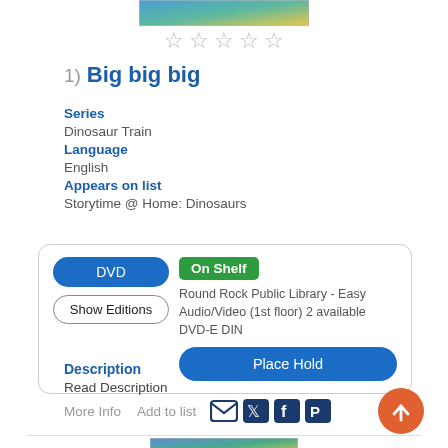[Figure (photo): Thumbnail image of Dinosaur Train media item at top]
☆☆☆☆☆
1) Big big big
Series
Dinosaur Train
Language
English
Appears on list
Storytime @ Home: Dinosaurs
DVD | On Shelf
Show Editions
Round Rock Public Library - Easy Audio/Video (1st floor) 2 available
DVD-E DIN
Place Hold
Description
Read Description
More Info   Add to list
[Figure (photo): Thumbnail image at bottom of page]